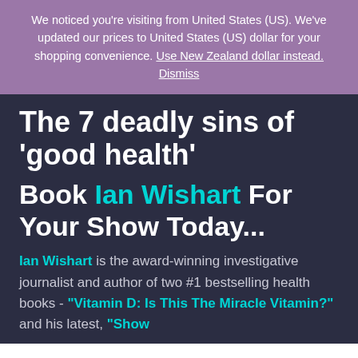We noticed you're visiting from United States (US). We've updated our prices to United States (US) dollar for your shopping convenience. Use New Zealand dollar instead. Dismiss
The 7 deadly sins of 'good health'
Book Ian Wishart For Your Show Today...
Ian Wishart is the award-winning investigative journalist and author of two #1 bestselling health books - "Vitamin D: Is This The Miracle Vitamin?" and his latest, "Show